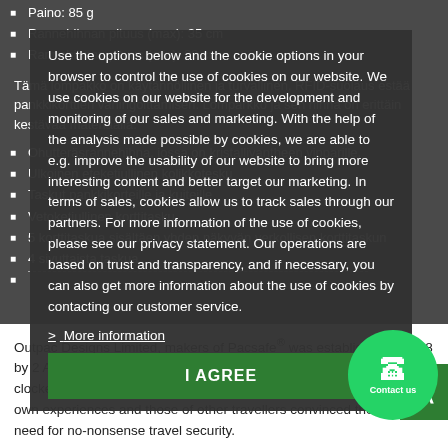Paino: 85 g
Rannehihnan pituus (max): 35 cm
Rannehihnan pituus (min): 23 cm
Tämä lompakko on käytännöllinen ja turvallinen. RFIDsuolaus estää pankkikorttien vahingoittamisen. Lomparko ja sen hihna on erittäin kestävää materiaalia.
Ohutteräsrannehihna, jossa on kristallivantheen vipparille.
Ulkoinen eteketjullinen kolikkotesku
Taskut pankkikorteille ja kuiteille
Vetoketjullinen korttitasku
5 korttitaskua sisältäen yhden näkyvän verkollisen korttitaskun
4 sivuttaista taskua
Use the options below and the cookie options in your browser to control the use of cookies on our website. We use cookies on our website for the development and monitoring of our sales and marketing. With the help of the analysis made possible by cookies, we are able to e.g. improve the usability of our website to bring more interesting content and better target our marketing. In terms of sales, cookies allow us to track sales through our partners. For more information of the use of cookies, please see our privacy statement. Our operations are based on trust and transparency, and if necessary, you can also get more information about the use of cookies by contacting our customer service.
> More information
I AGREE
Outpac Designs Limited, makers of Pacsafe® was established in 1998 by 2 Aussie friends who had sailed most of the world's oceans and clocked up visits to more than 80 countries around the world. Their own experiences and those of other travellers convinced them of the need for no-nonsense travel security.